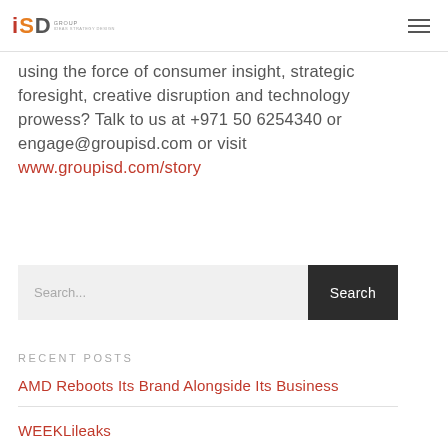ISD GROUP | IDEAS STRATEGY DESIGN
using the force of consumer insight, strategic foresight, creative disruption and technology prowess? Talk to us at +971 50 6254340 or engage@groupisd.com or visit www.groupisd.com/story
[Figure (screenshot): Search bar with text field showing 'Search...' placeholder and dark 'Search' button]
RECENT POSTS
AMD Reboots Its Brand Alongside Its Business
WEEKLileaks